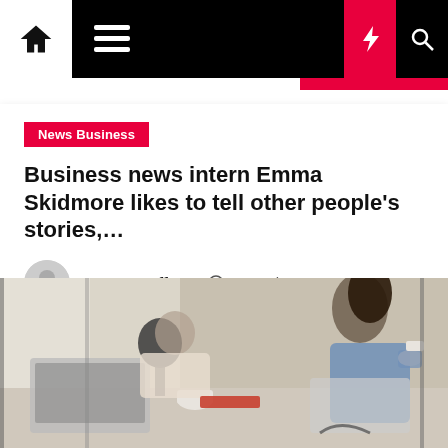Navigation bar with home, menu, moon, lightning, and search icons
News Business
Business news intern Emma Skidmore likes to tell other people's stories,…
Irene L. Joffman  3 months ago
[Figure (photo): Two women working at a cafe table with laptops, coffee cups, and a microphone; one standing holding a cup, the other seated.]